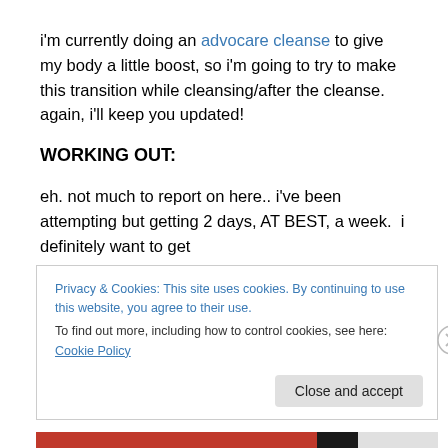i'm currently doing an advocare cleanse to give my body a little boost, so i'm going to try to make this transition while cleansing/after the cleanse.  again, i'll keep you updated!
WORKING OUT:
eh. not much to report on here.. i've been attempting but getting 2 days, AT BEST, a week.  i definitely want to get
Privacy & Cookies: This site uses cookies. By continuing to use this website, you agree to their use.
To find out more, including how to control cookies, see here: Cookie Policy